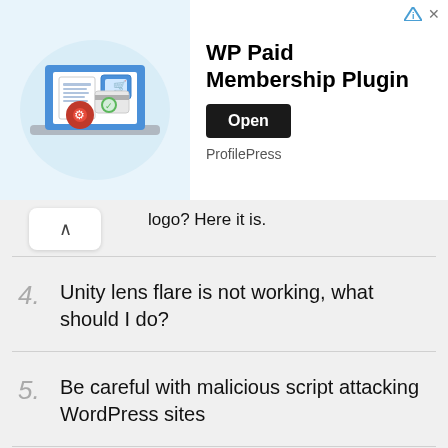[Figure (infographic): Advertisement banner for WP Paid Membership Plugin by ProfilePress, showing a laptop with shopping cart illustration, plugin title, Open button, and ProfilePress label]
logo? Here it is.
4. Unity lens flare is not working, what should I do?
5. Be careful with malicious script attacking WordPress sites
6. Useful JavaScript snippet when you are watching that online Videos